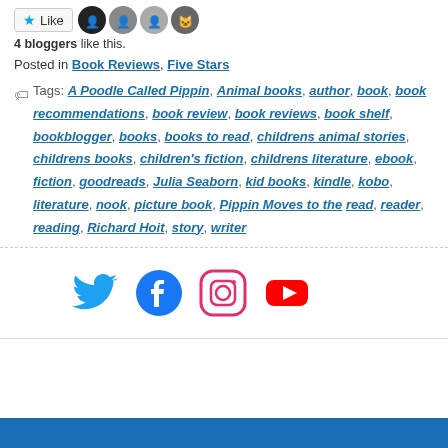4 bloggers like this.
Posted in Book Reviews, Five Stars
Tags: A Poodle Called Pippin, Animal books, author, book, book recommendations, book review, book reviews, book shelf, bookblogger, books, books to read, childrens animal stories, childrens books, childrens fiction, childrens literature, ebook, fiction, goodreads, Julia Seaborn, kid books, kindle, kobo, literature, nook, picture book, Pippin Moves to the read, reader, reading, Richard Hoit, story, writer
[Figure (logo): Social media icons: Twitter (blue bird), Facebook (blue F circle), Instagram (gradient camera), YouTube (red rectangle with play button)]